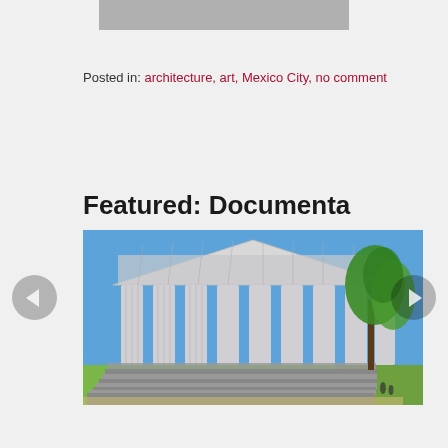[Figure (photo): Top portion of a partially visible image, gray rectangle]
Posted in: architecture, art, Mexico City, no comment
Featured: Documenta
[Figure (photo): Photograph of a Parthenon-like structure built from books, with tall cylindrical columns made of stacked books, blue sky background and green trees to the right, with stepped base/bleachers in front.]